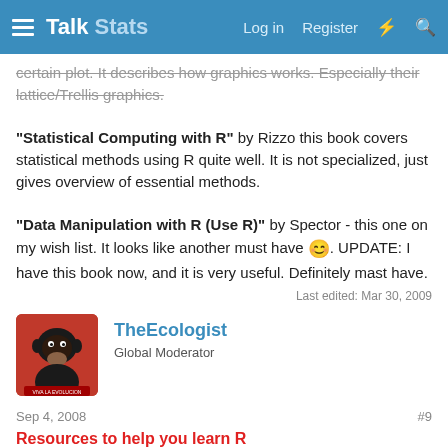Talk Stats — Log in  Register
certain plot. It describes how graphics works. Especially their lattice/Trellis graphics.
"Statistical Computing with R" by Rizzo this book covers statistical methods using R quite well. It is not specialized, just gives overview of essential methods.
"Data Manipulation with R (Use R)" by Spector - this one on my wish list. It looks like another must have 🙂. UPDATE: I have this book now, and it is very useful. Definitely mast have.
Last edited: Mar 30, 2009
TheEcologist
Global Moderator
Sep 4, 2008
#9
Resources to help you learn R
http://www.ats.ucla.edu/stat/r/